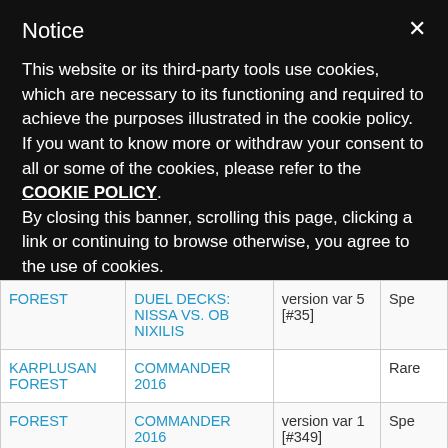Notice
This website or its third-party tools use cookies, which are necessary to its functioning and required to achieve the purposes illustrated in the cookie policy. If you want to know more or withdraw your consent to all or some of the cookies, please refer to the COOKIE POLICY.
By closing this banner, scrolling this page, clicking a link or continuing to browse otherwise, you agree to the use of cookies.
| Name | Set | Version | Rarity |
| --- | --- | --- | --- |
| FOREST | DUEL DECKS: NISSA VS. OB NIXILIS | version var 5 [#35] | Spe |
| KARPLUSAN FOREST | COMMANDER 2016 |  | Rare |
| FOREST | COMMANDER 2016 | version var 1 [#349] | Spe |
| FOREST | COMMANDER | version var 2 | Spe |